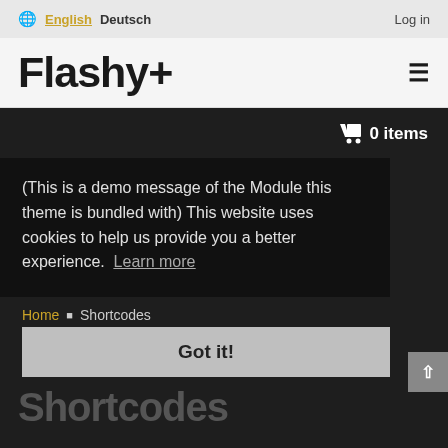🌐 English  Deutsch    Log in
Flashy+
🛒 0 items
(This is a demo message of the Module this theme is bundled with) This website uses cookies to help us provide you a better experience.  Learn more
Home ▪ Shortcodes
Got it!
Shortcodes